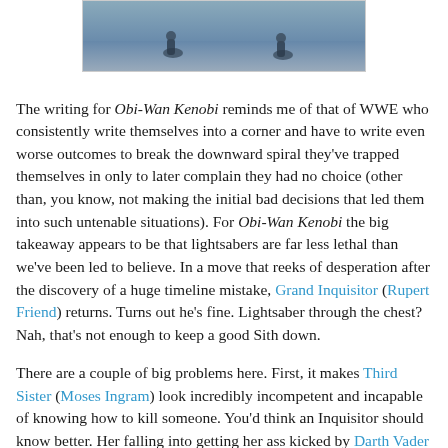[Figure (photo): Partial photo showing two figures on what appears to be a reflective surface, likely a scene from Obi-Wan Kenobi]
The writing for Obi-Wan Kenobi reminds me of that of WWE who consistently write themselves into a corner and have to write even worse outcomes to break the downward spiral they've trapped themselves in only to later complain they had no choice (other than, you know, not making the initial bad decisions that led them into such untenable situations). For Obi-Wan Kenobi the big takeaway appears to be that lightsabers are far less lethal than we've been led to believe. In a move that reeks of desperation after the discovery of a huge timeline mistake, Grand Inquisitor (Rupert Friend) returns. Turns out he's fine. Lightsaber through the chest? Nah, that's not enough to keep a good Sith down.
There are a couple of big problems here. First, it makes Third Sister (Moses Ingram) look incredibly incompetent and incapable of knowing how to kill someone. You'd think an Inquisitor should know better. Her falling into getting her ass kicked by Darth Vader (Hayden Christensen) later in the